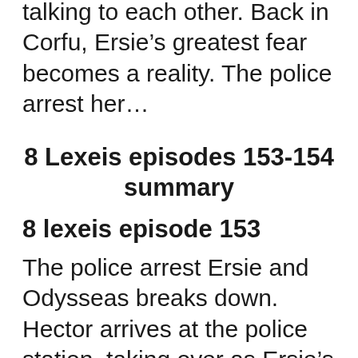talking to each other. Back in Corfu, Ersie's greatest fear becomes a reality. The police arrest her...
8 Lexeis episodes 153-154 summary
8 lexeis episode 153
The police arrest Ersie and Odysseas breaks down. Hector arrives at the police station, taking over as Ersie's lawyer. Eva has a very honest